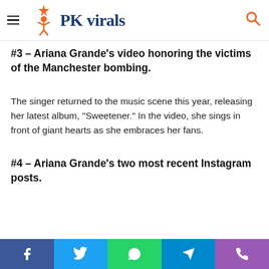PK Virals
#3 – Ariana Grande's video honoring the victims of the Manchester bombing.
The singer returned to the music scene this year, releasing her latest album, “Sweetener.” In the video, she sings in front of giant hearts as she embraces her fans.
#4 – Ariana Grande’s two most recent Instagram posts.
Facebook | Twitter | WhatsApp | Telegram | Phone